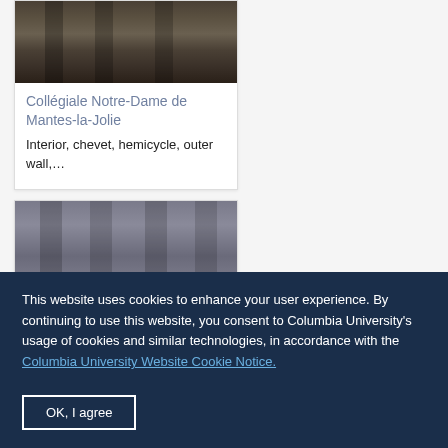[Figure (photo): Architectural interior photograph showing stone columns, top portion visible]
Collégiale Notre-Dame de Mantes-la-Jolie
Interior, chevet, hemicycle, outer wall,…
[Figure (photo): Architectural interior photograph showing stone columns and bases, close-up view]
This website uses cookies to enhance your user experience. By continuing to use this website, you consent to Columbia University's usage of cookies and similar technologies, in accordance with the Columbia University Website Cookie Notice.
OK, I agree